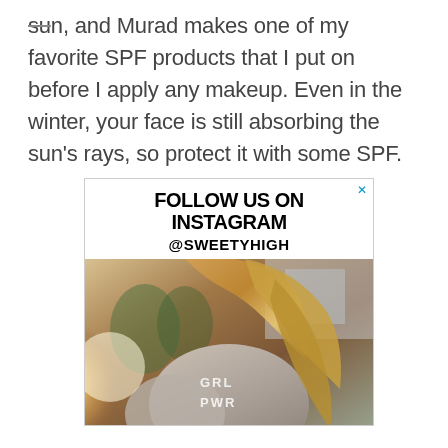sun, and Murad makes one of my favorite SPF products that I put on before I apply any makeup. Even in the winter, your face is still absorbing the sun's rays, so protect it with some SPF.
[Figure (other): Instagram advertisement box for @SWEETYHIGH showing 'FOLLOW US ON INSTAGRAM @SWEETYHIGH' text header with a photo of a girl with long blonde hair wearing a denim jacket with 'GRL PWR' text on the back, shot in warm sunlight.]